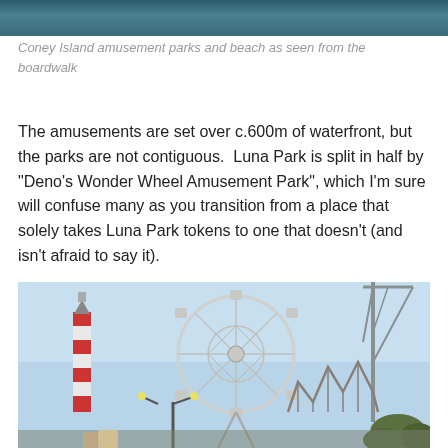[Figure (photo): Top strip of Coney Island amusement parks and beach as seen from the boardwalk — water/ocean view cropped]
Coney Island amusement parks and beach as seen from the boardwalk
The amusements are set over c.600m of waterfront, but the parks are not contiguous.  Luna Park is split in half by "Deno's Wonder Wheel Amusement Park", which I'm sure will confuse many as you transition from a place that solely takes Luna Park tokens to one that doesn't (and isn't afraid to say it).
[Figure (photo): Coney Island amusement park featuring the Wonder Wheel ferris wheel, a lighthouse-striped tower, roller coaster structures, a crane, and trees in the foreground against a blue sky]